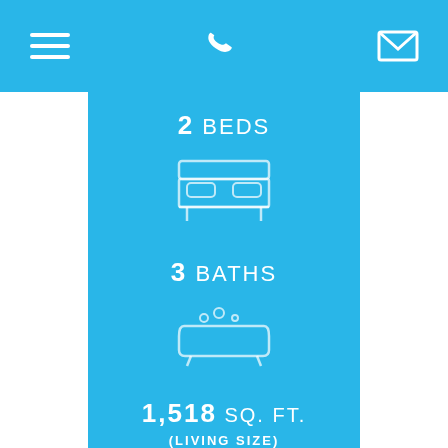Navigation bar with menu, phone, and email icons
2 BEDS
[Figure (illustration): White outline icon of a bed on blue background]
3 BATHS
[Figure (illustration): White outline icon of a bathtub on blue background]
1,518 SQ. FT. (LIVING SIZE)
[Figure (illustration): Gray square placeholder image on blue background]